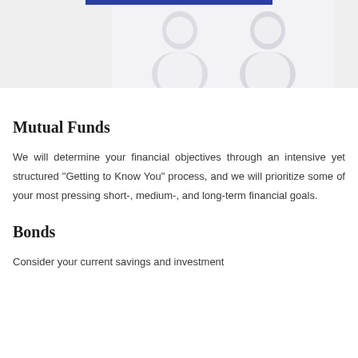[Figure (illustration): Decorative header banner with blue bar at top and person silhouettes on gray/light background panels]
Mutual Funds
We will determine your financial objectives through an intensive yet structured “Getting to Know You” process, and we will prioritize some of your most pressing short-, medium-, and long-term financial goals.
Bonds
Consider your current savings and investment